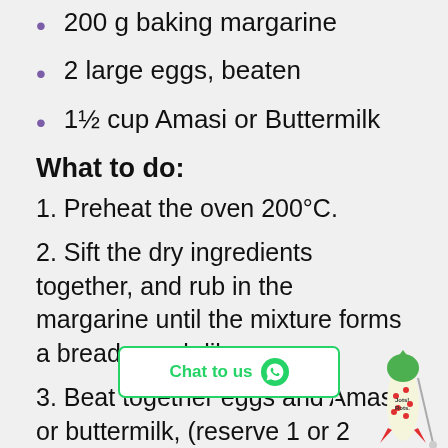200 g baking margarine
2 large eggs, beaten
1½ cup Amasi or Buttermilk
What to do:
1. Preheat the oven 200°C.
2. Sift the dry ingredients together, and rub in the margarine until the mixture forms a bread crumb like.
3. Beat together eggs and Amasi or buttermilk, (reserve 1 or 2 Tbsp of the egg mixture to brush the top) and the liquid mixture in one go, cutting it into the dough into with